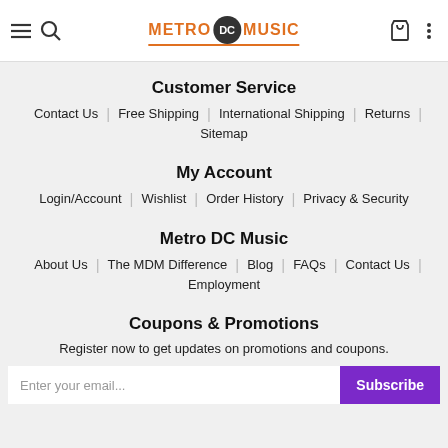Metro DC Music — navigation header with hamburger, search, cart, and more icons
Customer Service
Contact Us | Free Shipping | International Shipping | Returns | Sitemap
My Account
Login/Account | Wishlist | Order History | Privacy & Security
Metro DC Music
About Us | The MDM Difference | Blog | FAQs | Contact Us | Employment
Coupons & Promotions
Register now to get updates on promotions and coupons.
Enter your email...  Subscribe